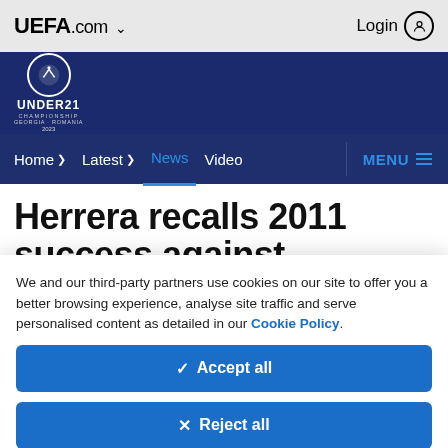UEFA.com ∨   Login
[Figure (logo): UEFA Under-21 Championship Georgia - Romania 2023 logo on dark blue banner]
Home > Latest > News  Video  MENU
Herrera recalls 2011 success against Switzerland
We and our third-party partners use cookies on our site to offer you a better browsing experience, analyse site traffic and serve personalised content as detailed in our Cookie Policy.
✓ Accept all
× Reject all